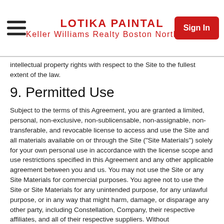LOTIKA PAINTAL
Keller Williams Realty Boston Northwest
intellectual property rights with respect to the Site to the fullest extent of the law.
9. Permitted Use
Subject to the terms of this Agreement, you are granted a limited, personal, non-exclusive, non-sublicensable, non-assignable, non-transferable, and revocable license to access and use the Site and all materials available on or through the Site ("Site Materials") solely for your own personal use in accordance with the license scope and use restrictions specified in this Agreement and any other applicable agreement between you and us. You may not use the Site or any Site Materials for commercial purposes. You agree not to use the Site or Site Materials for any unintended purpose, for any unlawful purpose, or in any way that might harm, damage, or disparage any other party, including Constellation, Company, their respective affiliates, and all of their respective suppliers. Without limiting the preceding, you agree to ensure that you will